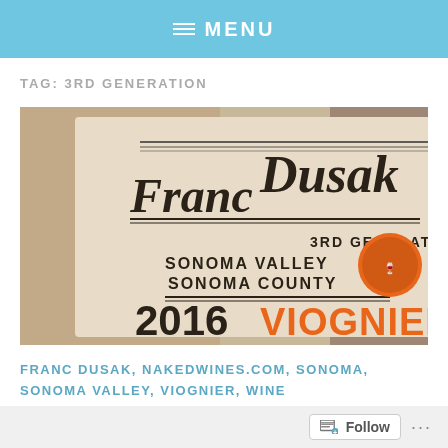≡ MENU
TAG: 3RD GENERATION
[Figure (photo): Close-up photo of a Franc Dusak wine bottle label reading 'Franc Dusak 3rd Generation Sonoma Valley Sonoma County 2016 Viognier']
FRANC DUSAK, NAKEDWINES.COM, SONOMA, SONOMA VALLEY, VIOGNIER, WINE
Review: Franc Dusak Viognier So...